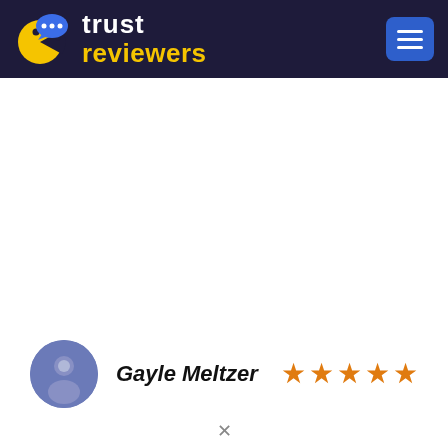[Figure (logo): TrustReviewers logo with pac-man style yellow character and speech bubble, with text 'trust reviewers' in white and yellow on dark navy background, plus a blue hamburger menu button]
Gayle Meltzer ★★★★★